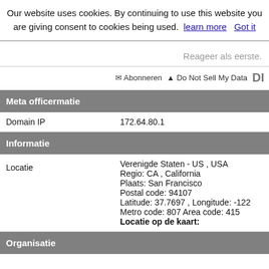Our website uses cookies. By continuing to use this website you are giving consent to cookies being used. learn more   Got it
Reageer als eerste.
✉ Abonneren ▲ Do Not Sell My Data DI
| Meta officermatie |  |
| --- | --- |
| Domain IP | 172.64.80.1 |
| Informatie |  |
| Locatie | Verenigde Staten - US , USA
Regio: CA , California
Plaats: San Francisco
Postal code: 94107
Latitude: 37.7697 , Longitude: -122
Metro code: 807 Area code: 415
Locatie op de kaart: |
| Organisatie |  |